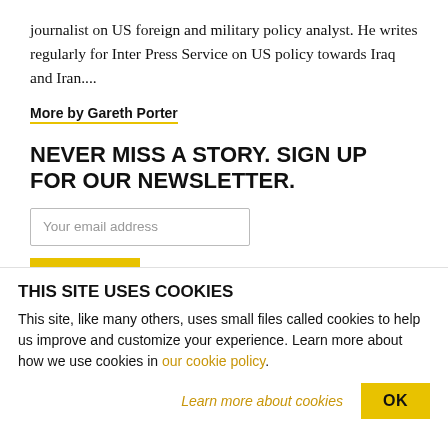journalist on US foreign and military policy analyst. He writes regularly for Inter Press Service on US policy towards Iraq and Iran....
More by Gareth Porter
NEVER MISS A STORY. SIGN UP FOR OUR NEWSLETTER.
Your email address
THIS SITE USES COOKIES
This site, like many others, uses small files called cookies to help us improve and customize your experience. Learn more about how we use cookies in our cookie policy.
Learn more about cookies
OK